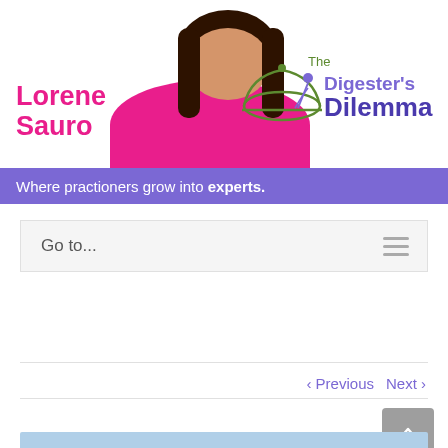[Figure (screenshot): Website header banner for 'The Digester's Dilemma' by Lorene Sauro. Shows a woman with dark hair wearing a pink top on the left, the name 'Lorene Sauro' in pink text, and on the right a logo with a dome/cloche icon and the text 'The Digester's Dilemma' in green and purple.]
Where practioners grow into experts.
Go to...
‹ Previous   Next ›
[Figure (screenshot): Bottom preview strip showing a light blue background, partial view of next content section.]